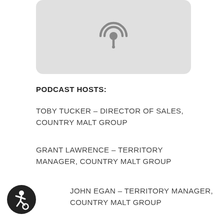[Figure (illustration): Light gray rounded rectangle box containing a podcast microphone/broadcast icon in dark gray]
PODCAST HOSTS:
TOBY TUCKER – DIRECTOR OF SALES, COUNTRY MALT GROUP
GRANT LAWRENCE – TERRITORY MANAGER, COUNTRY MALT GROUP
JOHN EGAN – TERRITORY MANAGER, COUNTRY MALT GROUP